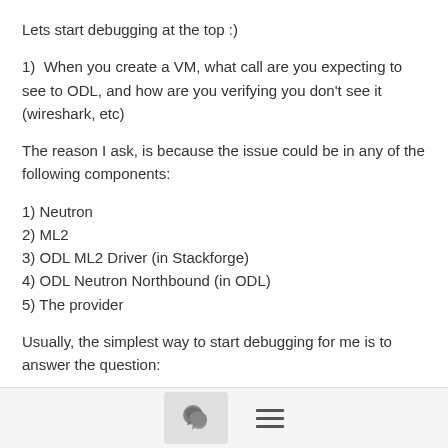Lets start debugging at the top :)
1)  When you create a VM, what call are you expecting to see to ODL, and how are you verifying you don't see it (wireshark, etc)
The reason I ask, is because the issue could be in any of the following components:
1) Neutron
2) ML2
3) ODL ML2 Driver (in Stackforge)
4) ODL Neutron Northbound (in ODL)
5) The provider
Usually, the simplest way to start debugging for me is to answer the question:
On the wire, do I see the REST calls I expected.
[Figure (other): Footer bar with a chat/comment icon button and a hamburger menu icon]